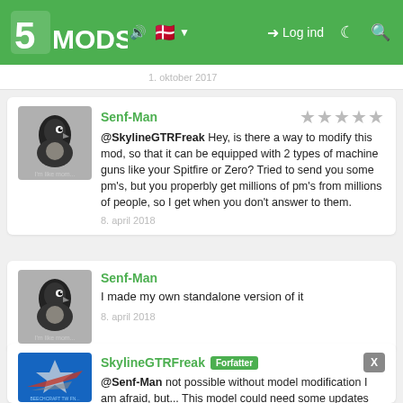5MODS — Log ind navigation bar
1. oktober 2017 (partial, cut off)
Senf-Man — @SkylineGTRFreak Hey, is there a way to modify this mod, so that it can be equipped with 2 types of machine guns like your Spitfire or Zero? Tried to send you some pm's, but you properbly get millions of pm's from millions of people, so I get when you don't answer to them. — 8. april 2018
Senf-Man — I made my own standalone version of it — 8. april 2018
SkylineGTRFreak [Forfatter] — @Senf-Man not possible without model modification I am afraid, but... This model could need some updates anyway. I'll check this.